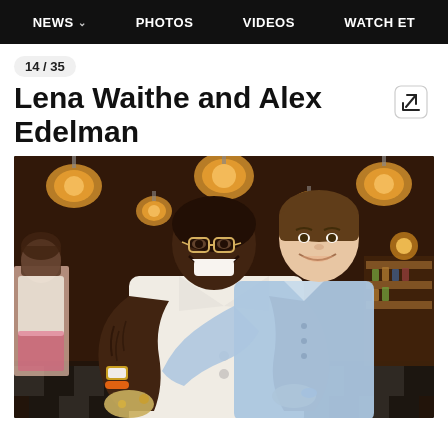NEWS  PHOTOS  VIDEOS  WATCH ET
14 / 35
Lena Waithe and Alex Edelman
[Figure (photo): Two people hugging and smiling in a warmly lit restaurant/bar setting with hanging lanterns and a checkered floor. The person in front wears a white blazer and has tattoos; the person behind wears a light blue shirt.]